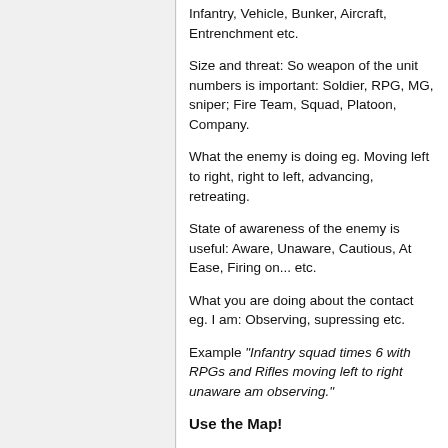Infantry, Vehicle, Bunker, Aircraft, Entrenchment etc.
Size and threat: So weapon of the unit numbers is important: Soldier, RPG, MG, sniper; Fire Team, Squad, Platoon, Company.
What the enemy is doing eg. Moving left to right, right to left, advancing, retreating.
State of awareness of the enemy is useful: Aware, Unaware, Cautious, At Ease, Firing on... etc.
What you are doing about the contact eg. I am: Observing, supressing etc.
Example "Infantry squad times 6 with RPGs and Rifles moving left to right unaware am observing."
Use the Map!